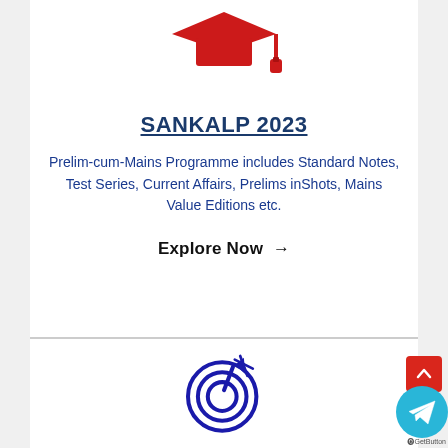[Figure (illustration): Red graduation cap icon]
SANKALP 2023
Prelim-cum-Mains Programme includes Standard Notes, Test Series, Current Affairs, Prelims inShots, Mains Value Editions etc.
Explore Now →
[Figure (illustration): Dark blue target/bullseye with arrow icon]